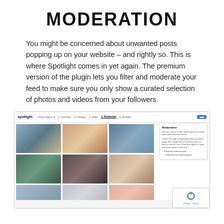MODERATION
You might be concerned about unwanted posts popping up on your website – and rightly so. This is where Spotlight comes in yet again. The premium version of the plugin lets you filter and moderate your feed to make sure you only show a curated selection of photos and videos from your followers.
[Figure (screenshot): Screenshot of Spotlight plugin's Moderation tab showing a photo grid with an Instagram-style layout and a moderation settings panel on the right with options to hide or show selected posts. A reCAPTCHA badge is visible in the bottom-right corner.]